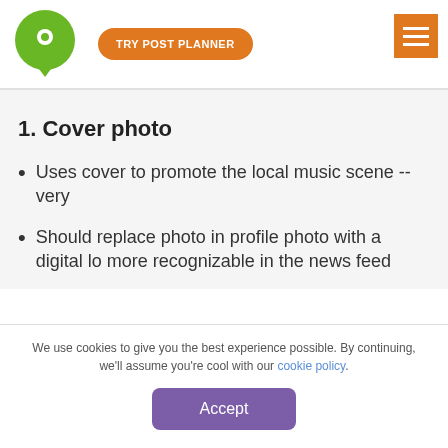TRY POST PLANNER
1. Cover photo
Uses cover to promote the local music scene -- very
Should replace photo in profile photo with a digital lo more recognizable in the news feed
We use cookies to give you the best experience possible. By continuing, we'll assume you're cool with our cookie policy.